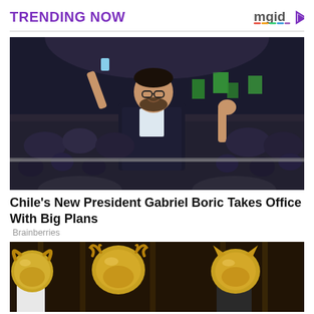TRENDING NOW
[Figure (logo): mgid logo with play button icon in top right corner]
[Figure (photo): Man in dark suit raising arm in celebration on stage in front of large crowd at night — Gabriel Boric victory celebration]
Chile's New President Gabriel Boric Takes Office With Big Plans
Brainberries
[Figure (photo): Three people wearing elaborate golden animal masks (bull, deer/stag, tiger/cat) at what appears to be a formal event]